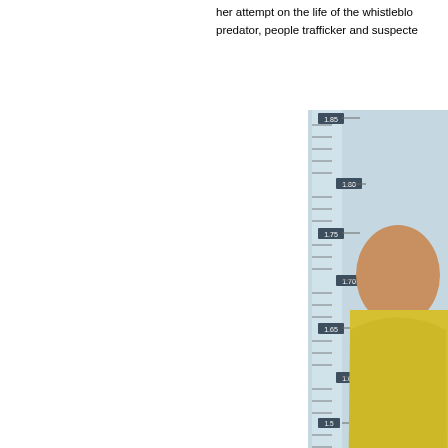her attempt on the life of the whistleblow... predator, people trafficker and suspecte...
[Figure (photo): Mugshot-style photo of a person in a yellow shirt standing against a height measurement chart/ruler background, showing measurements from approximately 1.55 to 1.85]
Above left: John of God (pictured ... all of the charges against him. A... Montana.  West asserts that...
The similarities between Joao Teixeira d... criminal 'play book' are stunning to say... and they both apparently murder witness...